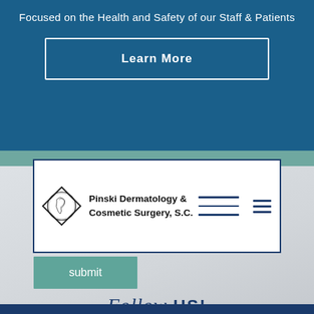Focused on the Health and Safety of our Staff & Patients
Learn More
[Figure (logo): Pinski Dermatology & Cosmetic Surgery, S.C. logo with diamond-shaped icon of a face profile and navigation bar lines]
submit
Follow US!
[Figure (infographic): Four social media icons in circles: Facebook, YouTube/Play, Yelp, Instagram]